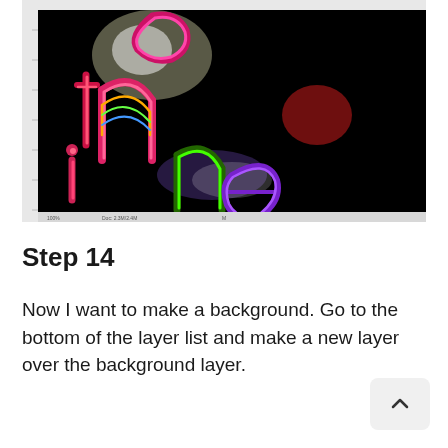[Figure (screenshot): Screenshot of a digital art application showing colorful 3D typographic letters glowing against a black background, with ruler guides visible on the left and top edges.]
Step 14
Now I want to make a background. Go to the bottom of the layer list and make a new layer over the background layer.